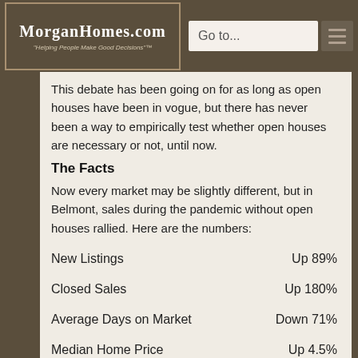MorganHomes.com — Helping People Make Good Decisions™ | Go to...
This debate has been going on for as long as open houses have been in vogue, but there has never been a way to empirically test whether open houses are necessary or not, until now.
The Facts
Now every market may be slightly different, but in Belmont, sales during the pandemic without open houses rallied. Here are the numbers:
New Listings — Up 89%
Closed Sales — Up 180%
Average Days on Market — Down 71%
Median Home Price — Up 4.5%
Price Per Sq Ft — Up 25.5%